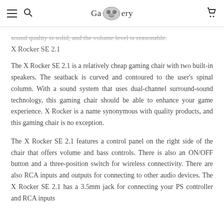Ga(oo)ery [logo with hamburger, search, and cart icons]
sound quality is solid, and the volume level is reasonable.
X Rocker SE 2.1
The X Rocker SE 2.1 is a relatively cheap gaming chair with two built-in speakers. The seatback is curved and contoured to the user's spinal column. With a sound system that uses dual-channel surround-sound technology, this gaming chair should be able to enhance your game experience. X Rocker is a name synonymous with quality products, and this gaming chair is no exception.
The X Rocker SE 2.1 features a control panel on the right side of the chair that offers volume and bass controls. There is also an ON/OFF button and a three-position switch for wireless connectivity. There are also RCA inputs and outputs for connecting to other audio devices. The X Rocker SE 2.1 has a 3.5mm jack for connecting your PS controller and RCA inputs